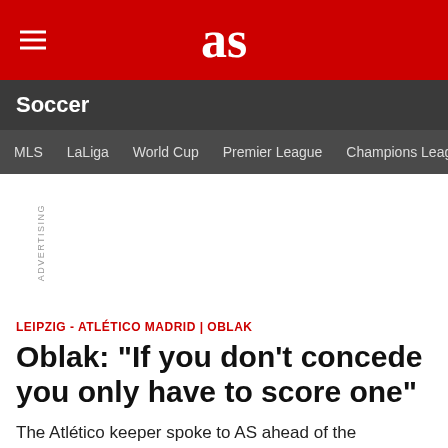as
Soccer
MLS | LaLiga | World Cup | Premier League | Champions League
ADVERTISING
LEIPZIG - ATLÉTICO MADRID | OBLAK
Oblak: "If you don't concede you only have to score one"
The Atlético keeper spoke to AS ahead of the Champions League quarter-final: "Leipzig with and without Werner are two slightly different teams."